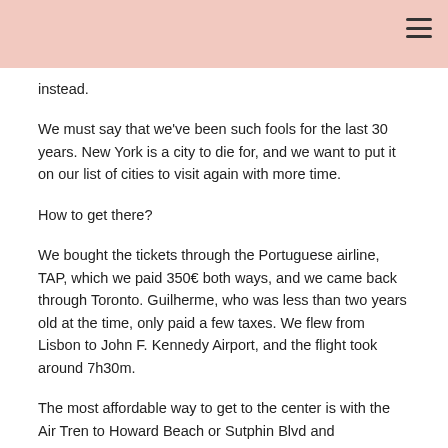instead.
We must say that we've been such fools for the last 30 years. New York is a city to die for, and we want to put it on our list of cities to visit again with more time.
How to get there?
We bought the tickets through the Portuguese airline, TAP, which we paid 350€ both ways, and we came back through Toronto. Guilherme, who was less than two years old at the time, only paid a few taxes. We flew from Lisbon to John F. Kennedy Airport, and the flight took around 7h30m.
The most affordable way to get to the center is with the Air Tren to Howard Beach or Sutphin Blvd and